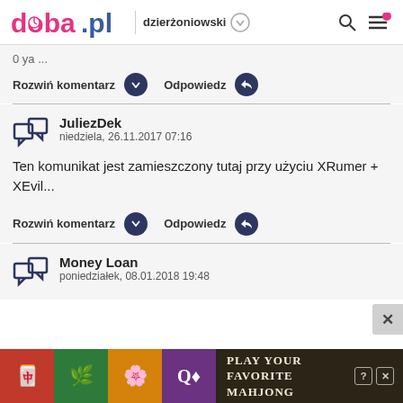doba.pl | dzierżoniowski
0 ya ...
Rozwiń komentarz   Odpowiedz
JuliezDek
niedziela, 26.11.2017 07:16
Ten komunikat jest zamieszczony tutaj przy użyciu XRumer + XEvil...
Rozwiń komentarz   Odpowiedz
Money Loan
poniedziałek, 08.01.2018 19:48
[Figure (screenshot): Advertisement banner for Mahjong game with colorful tiles and text 'Play Your Favorite Mahjong']